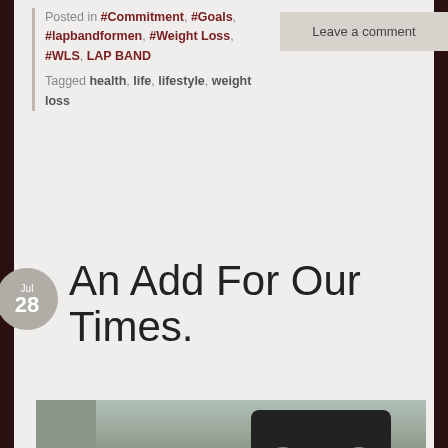Posted in #Commitment, #Goals, #lapbandformen, #Weight Loss, #WLS, LAP BAND
Tagged health, life, lifestyle, weight loss
Leave a comment
An Add For Our Times.
[Figure (photo): Street scene photo showing a dark car parked on a street, with a sign at the bottom reading TIRED OF in red and white]